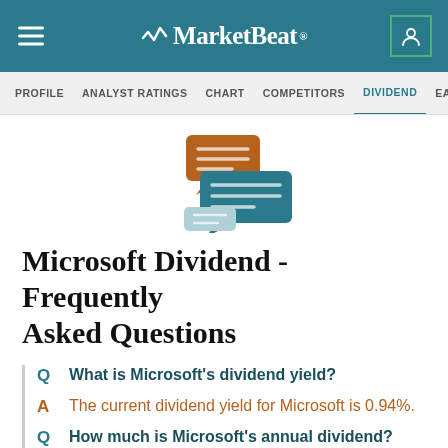MarketBeat
PROFILE | ANALYST RATINGS | CHART | COMPETITORS | DIVIDEND | EARNINGS
[Figure (illustration): Speech bubble icons: one brown, one teal, one light blue, representing FAQ/conversation]
Microsoft Dividend - Frequently Asked Questions
Q  What is Microsoft's dividend yield?
A  The current dividend yield for Microsoft is 0.94%.
Q  How much is Microsoft's annual dividend?